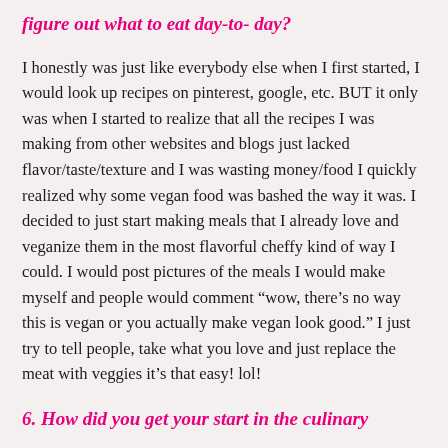figure out what to eat day-to- day?
I honestly was just like everybody else when I first started, I would look up recipes on pinterest, google, etc. BUT it only was when I started to realize that all the recipes I was making from other websites and blogs just lacked flavor/taste/texture and I was wasting money/food I quickly realized why some vegan food was bashed the way it was. I decided to just start making meals that I already love and veganize them in the most flavorful cheffy kind of way I could. I would post pictures of the meals I would make myself and people would comment “wow, there’s no way this is vegan or you actually make vegan look good.” I just try to tell people, take what you love and just replace the meat with veggies it’s that easy! lol!
6. How did you get your start in the culinary